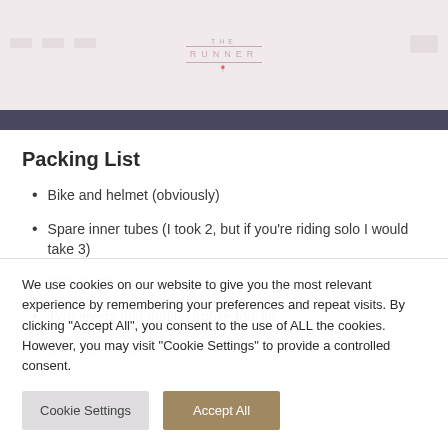THE RUNNER (logo)
Packing List
Bike and helmet (obviously)
Spare inner tubes (I took 2, but if you're riding solo I would take 3)
Bike pump
Tyre levers and multi purpose tool kit
Small bike lock
We use cookies on our website to give you the most relevant experience by remembering your preferences and repeat visits. By clicking "Accept All", you consent to the use of ALL the cookies. However, you may visit "Cookie Settings" to provide a controlled consent.